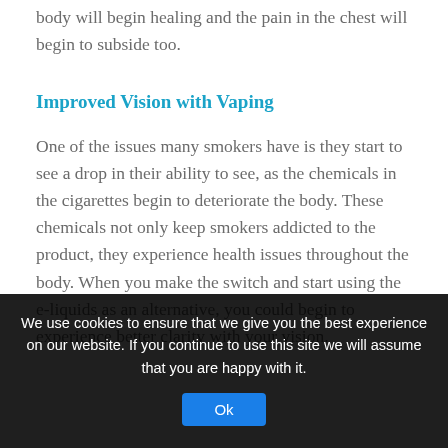body will begin healing and the pain in the chest will begin to subside too.
Improved Vision with Vaping
One of the issues many smokers have is they start to see a drop in their ability to see, as the chemicals in the cigarettes begin to deteriorate the body. These chemicals not only keep smokers addicted to the product, they experience health issues throughout the body. When you make the switch and start using the e-liquids as an alternative, you could begin to experience better clarity with your vision.
We use cookies to ensure that we give you the best experience on our website. If you continue to use this site we will assume that you are happy with it.